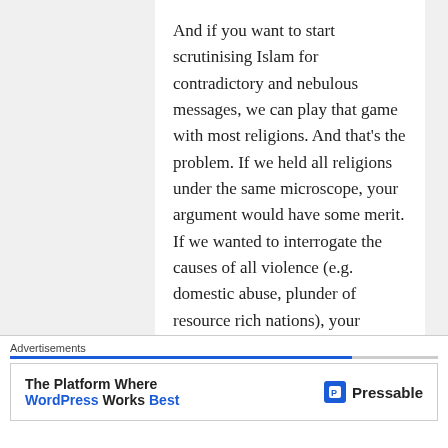And if you want to start scrutinising Islam for contradictory and nebulous messages, we can play that game with most religions. And that's the problem. If we held all religions under the same microscope, your argument would have some merit. If we wanted to interrogate the causes of all violence (e.g. domestic abuse, plunder of resource rich nations), your argument would have some merit. But we're not. It's all about stop the scary brown people, with their dangerous customs, and their behaviour that's not like mine.
Advertisements
The Platform Where WordPress Works Best — Pressable